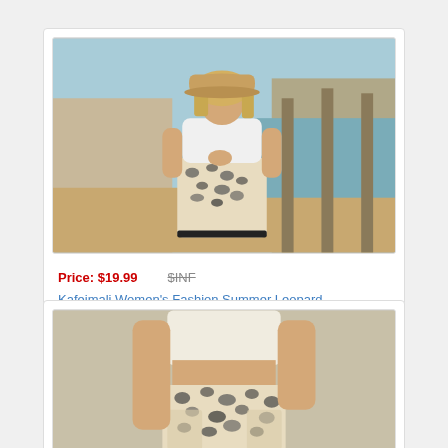[Figure (photo): Woman wearing white crop top, leopard print shorts, and tan baseball cap, standing on a beach near a pier]
Price: $19.99   $INF
Kafeimali Women's Fashion Summer Leopard
[Figure (photo): Woman wearing white crop top and leopard print shorts, showing midriff and shorts detail]